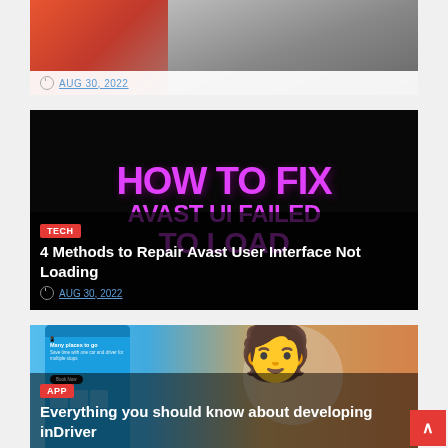[Figure (screenshot): Partial article card showing a laptop/USB drive image on a red-orange background]
AUG 30, 2022
[Figure (screenshot): Article card with dark background showing pink/magenta text: HOW TO FIX AVAST UI FAILED TO LOAD]
TECH
4 Methods to Repair Avast User Interface Not Loading
AUG 30, 2022
[Figure (screenshot): Article card showing a mobile app screenshot on the left and a cartoon worker holding a phone on the right]
APP
Everything you should know about developing inDriver